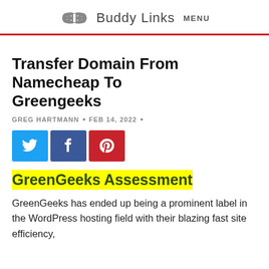Buddy Links  MENU
Transfer Domain From Namecheap To Greengeeks
GREG HARTMANN • FEB 14, 2022 •
[Figure (infographic): Three social sharing buttons: Twitter (blue, bird icon), Facebook (dark blue, f icon), Pinterest (red, p icon)]
GreenGeeks Assessment
GreenGeeks has ended up being a prominent label in the WordPress hosting field with their blazing fast site efficiency,